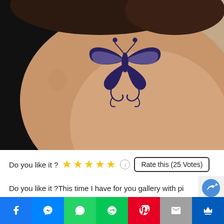[Figure (photo): Close-up photo of a person's neck with a tribal butterfly tattoo drawn in dark ink. The tattoo features symmetrical wing shapes and decorative curling designs beneath.]
Do you like it ? ★★★★★ Rate this (25 Votes)
Do you like it ?This time I have for you gallery with pi
[Figure (other): Social sharing bar with icons: Facebook (blue), Messenger (blue), WhatsApp (green), LINE (green), Pinterest (red), Email (grey), Crown/bookmark (blue)]